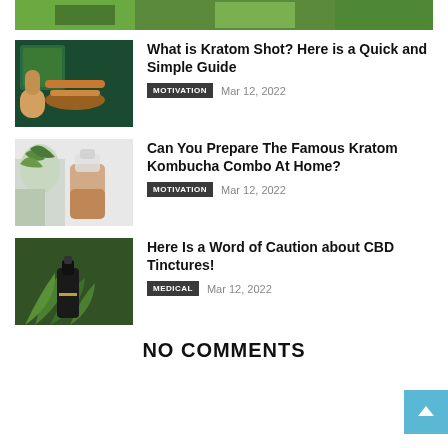[Figure (photo): Partial green plant photo at top]
[Figure (photo): Kratom powder on spoon and bowl on dark green surface]
What is Kratom Shot? Here is a Quick and Simple Guide
MOTIVATION   Mar 12, 2022
[Figure (photo): Glass jar with kombucha and palm leaves]
Can You Prepare The Famous Kratom Kombucha Combo At Home?
MOTIVATION   Mar 12, 2022
[Figure (photo): CBD tincture bottle with cannabis plant outdoors]
Here Is a Word of Caution about CBD Tinctures!
MEDICAL   Mar 12, 2022
NO COMMENTS